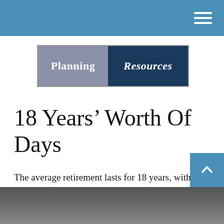Planning Resources
[Figure (logo): Planning Resources logo with two-tone background: gray left panel with 'Planning' in white serif, dark navy right panel with 'Resources' in white italic serif]
18 Years’ Worth Of Days
The average retirement lasts for 18 years, with many lasting even longer. Will you fill your post-retirement days with purpose?
[Figure (photo): Partial photo of a person at the bottom of the page, appears to show hands or face in close-up]